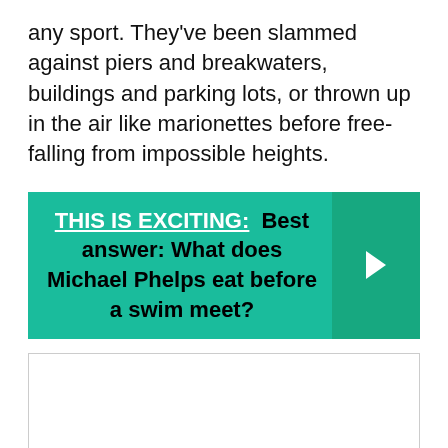any sport. They've been slammed against piers and breakwaters, buildings and parking lots, or thrown up in the air like marionettes before free-falling from impossible heights.
THIS IS EXCITING:  Best answer: What does Michael Phelps eat before a swim meet?
[Figure (other): Empty white image placeholder box with a light gray border]